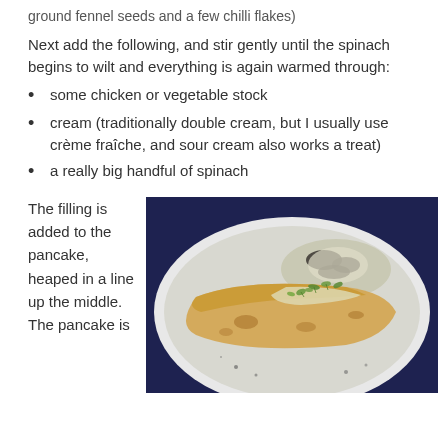ground fennel seeds and a few chilli flakes)
Next add the following, and stir gently until the spinach begins to wilt and everything is again warmed through:
some chicken or vegetable stock
cream (traditionally double cream, but I usually use crème fraîche, and sour cream also works a treat)
a really big handful of spinach
The filling is added to the pancake, heaped in a line up the middle. The pancake is
[Figure (photo): A photo of a folded pancake/crepe filled with a creamy spinach mixture, garnished with fresh herbs, served on a white plate with a dark blue rim, with additional filling visible on top.]